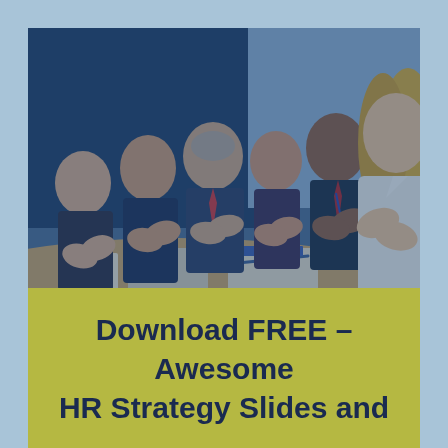[Figure (photo): A group of six business professionals sitting at a conference table, all smiling and clapping. The image has a blue overlay tint. The foreground features a blonde woman in a white blazer, and behind her are five colleagues including men in suits and a woman. The table has papers and a pen visible.]
Download FREE – Awesome HR Strategy Slides and